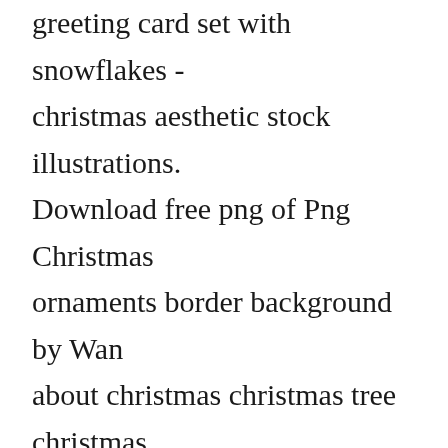greeting card set with snowflakes - christmas aesthetic stock illustrations. Download free png of Png Christmas ornaments border background by Wan about christmas christmas tree christmas backgrounds aesthetic and background 2731272. Holiday aesthetic christmas vibes christmas aesthetic christmas atmosphere christmas tree christmas christmas moodboard christmas time christmas eve christmas mood holiday moodboard holiday vibes holiday moodboards aesthetics cozy christmas christmas [close icon] scribes the most